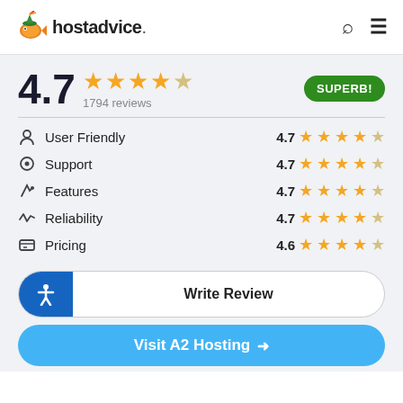hostadvice.
4.7  1794 reviews  SUPERB!
User Friendly 4.7
Support 4.7
Features 4.7
Reliability 4.7
Pricing 4.6
Write Review
Visit A2 Hosting